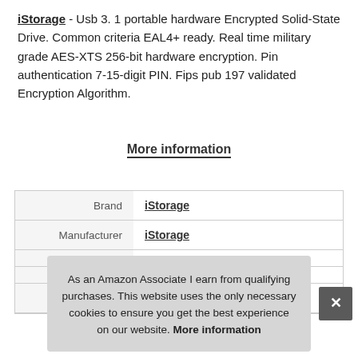iStorage - Usb 3. 1 portable hardware Encrypted Solid-State Drive. Common criteria EAL4+ ready. Real time military grade AES-XTS 256-bit hardware encryption. Pin authentication 7-15-digit PIN. Fips pub 197 validated Encryption Algorithm.
More information
| Brand | iStorage |
| Manufacturer | iStorage |
|  |  |
|  |  |
| Part Number | IS-DAB-256-SSD-100-GN |
As an Amazon Associate I earn from qualifying purchases. This website uses the only necessary cookies to ensure you get the best experience on our website. More information